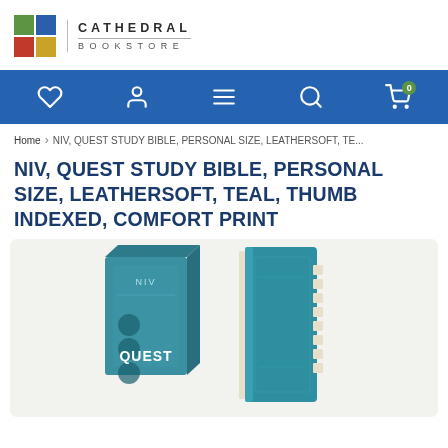[Figure (logo): Cathedral Bookstore logo: 2x2 colored grid (green, blue, red, yellow) with text CATHEDRAL BOOKSTORE]
[Figure (infographic): Blue navigation bar with heart, person/user, hamburger menu, search, and shopping cart (badge 0) icons]
Home > NIV, QUEST STUDY BIBLE, PERSONAL SIZE, LEATHERSOFT, TE...
NIV, QUEST STUDY BIBLE, PERSONAL SIZE, LEATHERSOFT, TEAL, THUMB INDEXED, COMFORT PRINT
[Figure (photo): Product photo showing two views of the NIV Quest Study Bible: a box packaging on the left and a teal leathersoft thumb-indexed Bible on the right, displayed on a light gray background]